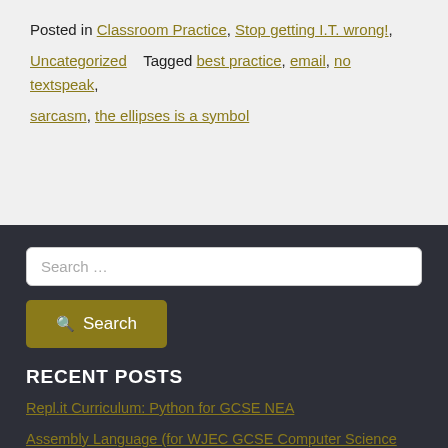Posted in Classroom Practice, Stop getting I.T. wrong!, Uncategorized    Tagged best practice, email, no textspeak, sarcasm, the ellipses is a symbol
Search …
Search
RECENT POSTS
Repl.it Curriculum: Python for GCSE NEA
Assembly Language (for WJEC GCSE Computer Science Unit 2)